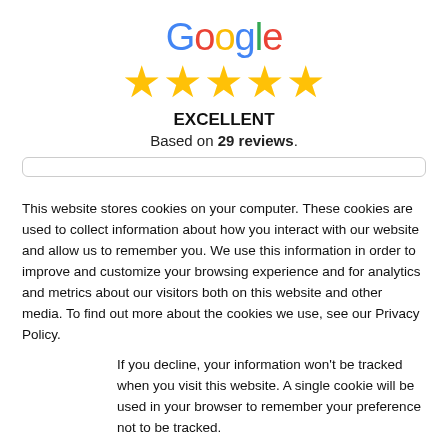[Figure (logo): Google logo in multicolor text]
[Figure (infographic): Five gold star rating icons]
EXCELLENT
Based on 29 reviews.
This website stores cookies on your computer. These cookies are used to collect information about how you interact with our website and allow us to remember you. We use this information in order to improve and customize your browsing experience and for analytics and metrics about our visitors both on this website and other media. To find out more about the cookies we use, see our Privacy Policy.
If you decline, your information won't be tracked when you visit this website. A single cookie will be used in your browser to remember your preference not to be tracked.
Accept
Decline